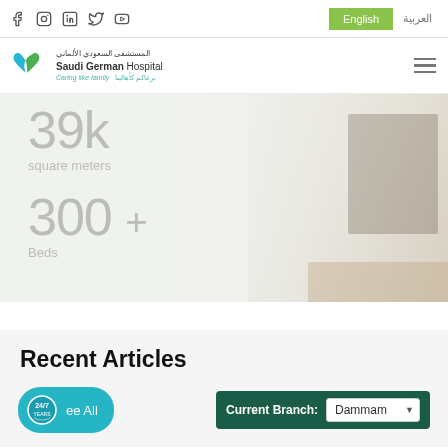Social media icons (Facebook, Instagram, LinkedIn, Twitter, YouTube) | English | العربية
[Figure (logo): Saudi German Hospital logo with heart icon, Arabic text المستشفى السعودي الألماني, English text Saudi German Hospital, tagline Caring like family / نرعاكم كأهالينا]
39k
square meters
300 +
Beds
Recent Articles
See All
Current Branch: Dammam